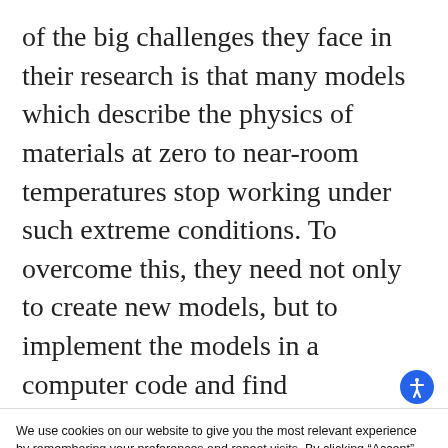of the big challenges they face in their research is that many models which describe the physics of materials at zero to near-room temperatures stop working under such extreme conditions. To overcome this, they need not only to create new models, but to implement the models in a computer code and find
We use cookies on our website to give you the most relevant experience by remembering your preferences and repeat visits. By clicking “Accept”, you consent to the use of ALL the cookies.
Cookie settings   ACCEPT